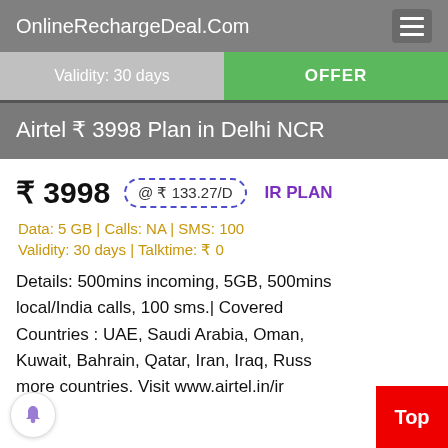OnlineRechargeDeal.Com
Validity: 30 days
OFFER
Airtel ₹ 3998 Plan in Delhi NCR
₹ 3998  @ ₹ 133.27/D  IR PLAN
Data: 5 GB | Calls: NA | SMS: 100
Validity: 30 days | Talktime: ₹ 0
Details: 500mins incoming, 5GB, 500mins local/India calls, 100 sms.| Covered Countries : UAE, Saudi Arabia, Oman, Kuwait, Bahrain, Qatar, Iran, Iraq, Russ more countries. Visit www.airtel.in/ir